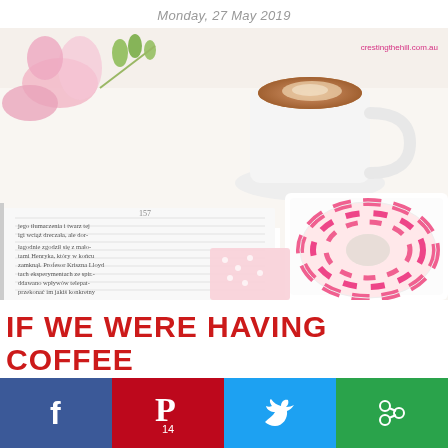Monday, 27 May 2019
[Figure (photo): Flat lay photo showing an open book with text, a cup of coffee, pink and white striped donut on a white plate, and pink flowers on white background. Watermark text: crestingthehill.com.au]
IF WE WERE HAVING COFFEE